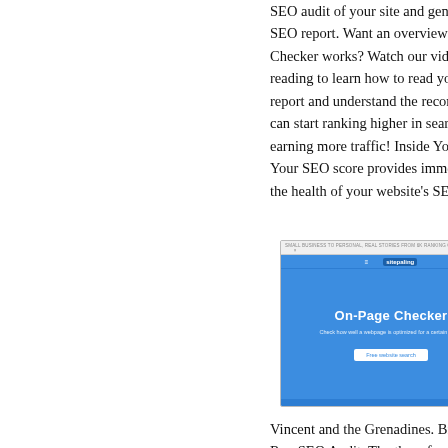SEO audit of your site and generate a full SEO report. Want an overview of how On-Page Checker works? Watch our video tutorial or keep reading to learn how to read your SEO auditing report and understand the recommendations, so you can start ranking higher in search results and earning more traffic! Inside Your SEO Score: Your SEO score provides immediate insight into the health of your website's SEO
[Figure (screenshot): Screenshot of the On-Page Checker tool interface with a blue background showing the title 'On-Page Checker' and subtitle 'Check how well a webpage is optimized for a certain query' with a button.]
Vincent and the Grenadines. Brit... Run SEO Audit. The three facets... analysis. Evaluate your URLs. C... content and UX pass a comprehe...